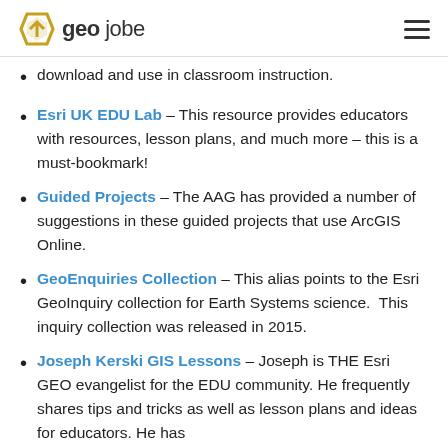geo jobe
download and use in classroom instruction.
Esri UK EDU Lab – This resource provides educators with resources, lesson plans, and much more – this is a must-bookmark!
Guided Projects – The AAG has provided a number of suggestions in these guided projects that use ArcGIS Online.
GeoEnquiries Collection – This alias points to the Esri GeoInquiry collection for Earth Systems science.  This inquiry collection was released in 2015.
Joseph Kerski GIS Lessons – Joseph is THE Esri GEO evangelist for the EDU community. He frequently shares tips and tricks as well as lesson plans and ideas for educators. He has